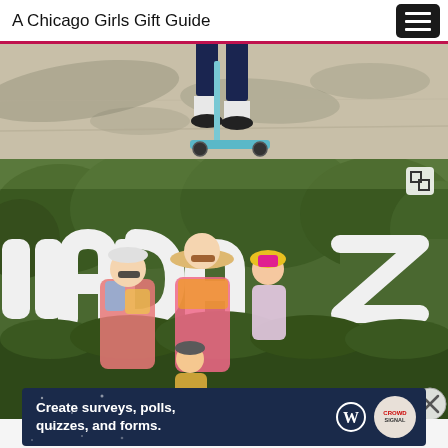A Chicago Girls Gift Guide
[Figure (photo): Child riding a scooter on a sidewalk, legs visible from knees down, captured outdoors with tree shadows on pavement]
[Figure (photo): Family of four posing in front of large white inflatable letters spelling 'llaPalooza' (Lollapalooza festival sign), all wearing colorful tie-dye outfits, with green hedge and trees in background]
Advertisements
[Figure (infographic): Dark navy advertisement banner reading 'Create surveys, polls, quizzes, and forms.' with WordPress and Crowdsignal logos on the right]